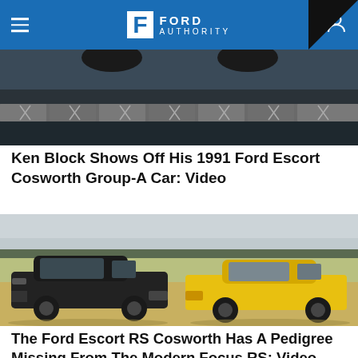Ford Authority
[Figure (photo): Partial view of a car at a racing track with barrier/fence in the background, dark tones]
Ken Block Shows Off His 1991 Ford Escort Cosworth Group-A Car: Video
[Figure (photo): Two cars side by side outdoors — a dark grey hatchback (left) and a yellow Ford Escort RS Cosworth (right) on a field with overcast sky]
The Ford Escort RS Cosworth Has A Pedigree Missing From The Modern Focus RS: Video